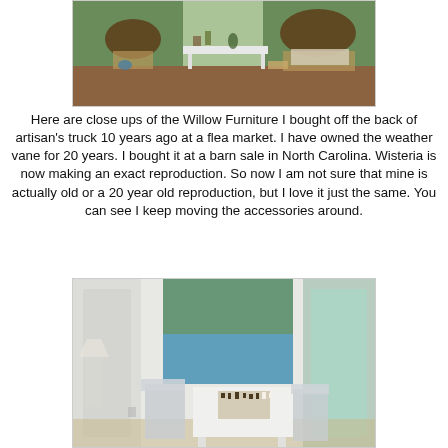[Figure (photo): Interior room photo showing wicker/willow furniture, a white console table, and lush greenery visible through windows. Rattan chairs and a loveseat with cushions visible.]
Here are close ups of the Willow Furniture I bought off the back of artisan’s truck 10 years ago at a flea market. I have owned the weather vane for 20 years. I bought it at a barn sale in North Carolina. Wisteria is now making an exact reproduction. So now I am not sure that mine is actually old or a 20 year old reproduction, but I love it just the same. You can see I keep moving the accessories around.
[Figure (photo): Interior room photo showing a white table with a chess set, slipcovered chairs, and a view of water/ocean through a window with trees. White walls and wooden floor visible.]